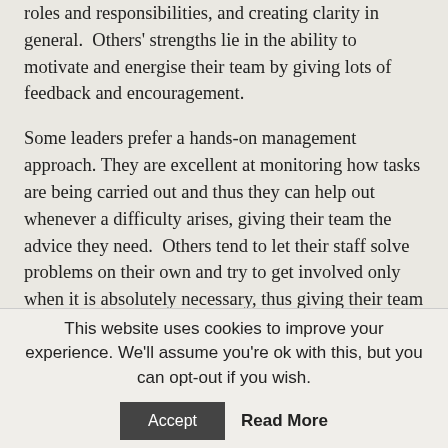roles and responsibilities, and creating clarity in general.  Others' strengths lie in the ability to motivate and energise their team by giving lots of feedback and encouragement.
Some leaders prefer a hands-on management approach. They are excellent at monitoring how tasks are being carried out and thus they can help out whenever a difficulty arises, giving their team the advice they need.  Others tend to let their staff solve problems on their own and try to get involved only when it is absolutely necessary, thus giving their team the freedom they need.
This website uses cookies to improve your experience. We'll assume you're ok with this, but you can opt-out if you wish.